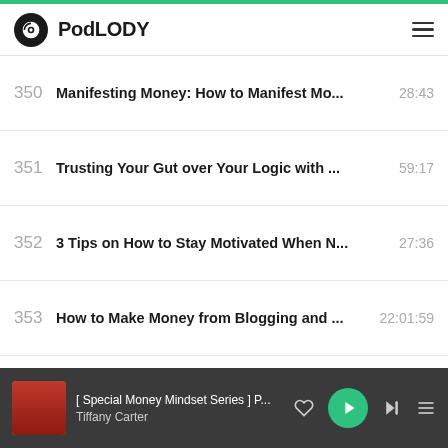PodLODY
350  Manifesting Money: How to Manifest Mo...  28:43
351  Trusting Your Gut over Your Logic with ...  59:17
352  3 Tips on How to Stay Motivated When N...  27:36
353  How to Make Money from Blogging and ...  22:01:59
354  What's Holding you Back from Making M...  16:04
355  Going from Food Stamps to 6-Figures in...  40:34
356  4 Tips on How to Improve your Email Op...  29:07
357  We are all Addicted to Something, if You  56:13
[ Special Money Mindset Series ] P...
Tiffany Carter